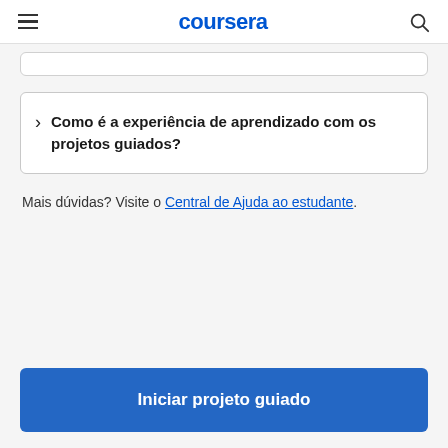coursera
Como é a experiência de aprendizado com os projetos guiados?
Mais dúvidas? Visite o Central de Ajuda ao estudante.
Iniciar projeto guiado